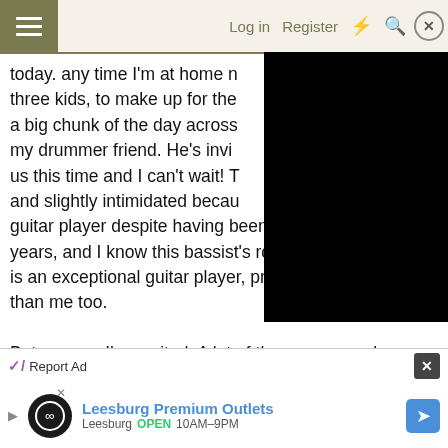Log in  Register
today. any time I'm at home needs three kids, to make up for the a big chunk of the day across my drummer friend. He's invi us this time and I can't wait! and slightly intimidated beca guitar player despite having been playing for 20+ years, and I know this bassist's roommate and that guy is an exceptional guitar player, probably a better singer than me too.

But anyway I'm excited. A lot of the songs we play really need bass; you can't fake it by playing the solo bass parts on the guitar's low E string. Well, you can -- it's what I've been doing until now -- but it really isn't
[Figure (other): Black rectangle overlay covering right portion of text, likely a video player or advertisement block]
Report Ad
[Figure (screenshot): Advertisement banner for Leesburg Premium Outlets showing logo circle with infinity symbol, blue text title, and navigation arrow icon. Text: Leesburg Premium Outlets, Leesburg OPEN 10AM-9PM]